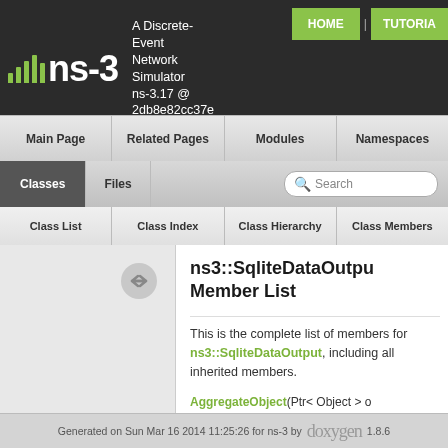ns-3 A Discrete-Event Network Simulator ns-3.17 @ 2db8e82cc37e
ns3::SqliteDataOutput Member List
This is the complete list of members for ns3::SqliteDataOutput, including all inherited members.
AggregateObject(Ptr< Object > o
Cleanup(void) (defined in ns3::S
ConstructSelf(const AttributeCon
Generated on Sun Mar 16 2014 11:25:26 for ns-3 by doxygen 1.8.6